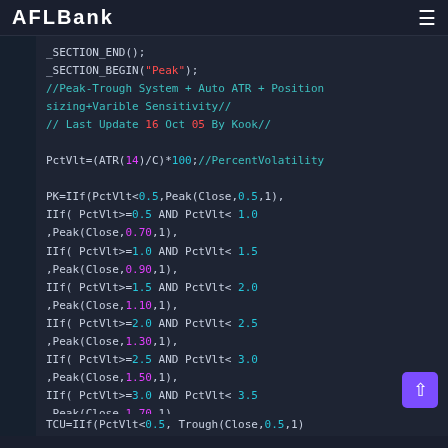AFLBank
[Figure (screenshot): Code editor showing AFL (AmiBroker Formula Language) code for a Peak-Trough System with Auto ATR and Position sizing Variable Sensitivity, with syntax highlighting on dark background.]
_SECTION_END();
_SECTION_BEGIN("Peak");
//Peak-Trough System + Auto ATR + Position sizing+Varible Sensitivity//
// Last Update 16 Oct 05 By Kook//

PctVlt=(ATR(14)/C)*100;//PercentVolatility

PK=IIf(PctVlt<0.5,Peak(Close,0.5,1),
IIf( PctVlt>=0.5 AND PctVlt< 1.0
,Peak(Close,0.70,1),
IIf( PctVlt>=1.0 AND PctVlt< 1.5
,Peak(Close,0.90,1),
IIf( PctVlt>=1.5 AND PctVlt< 2.0
,Peak(Close,1.10,1),
IIf( PctVlt>=2.0 AND PctVlt< 2.5
,Peak(Close,1.30,1),
IIf( PctVlt>=2.5 AND PctVlt< 3.0
,Peak(Close,1.50,1),
IIf( PctVlt>=3.0 AND PctVlt< 3.5
,Peak(Close,1.70,1),
IIf( PctVlt>=3.5 AND PctVlt< 4.0
,Peak(Close,2.00,1),
Peak(Close,2.20,1) ))))))));

TCU=IIf(PctVlt<0.5, Trough(Close,0.5,1)